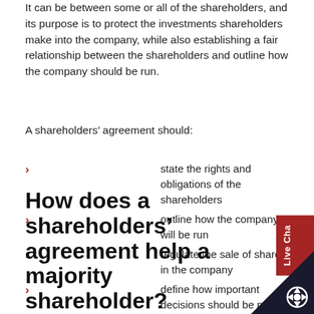It can be between some or all of the shareholders, and its purpose is to protect the investments shareholders make into the company, while also establishing a fair relationship between the shareholders and outline how the company should be run.
A shareholders’ agreement should:
state the rights and obligations of the shareholders
outline how the company will be run
regulate the sale of shares in the company
define how important decisions should be made
provide protection for minority shareholders on the company
How does a shareholders’ agreement help a majority shareholder?